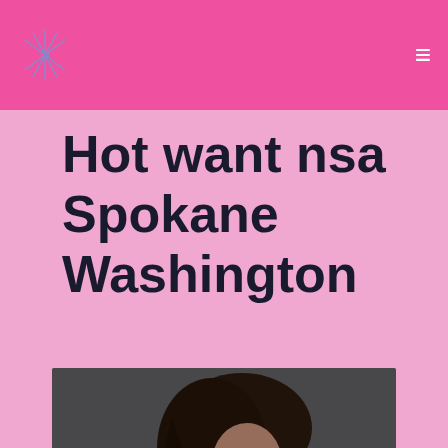Hot want nsa Spokane Washington
[Figure (photo): Woman with dark hair posing in a dark outfit against a gray background]